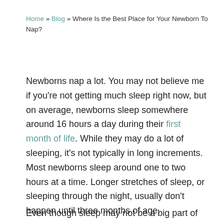Home » Blog » Where Is the Best Place for Your Newborn To Nap?
Newborns nap a lot. You may not believe me if you're not getting much sleep right now, but on average, newborns sleep somewhere around 16 hours a day during their first month of life. While they may do a lot of sleeping, it's not typically in long increments. Most newborns sleep around one to two hours at a time. Longer stretches of sleep, or sleeping through the night, usually don't happen until three months of age.
Even though sleep may not be a big part of your